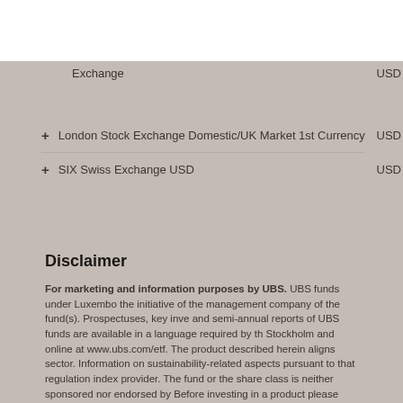Exchange   USD
+ London Stock Exchange Domestic/UK Market 1st Currency   USD
+ SIX Swiss Exchange USD   USD
Disclaimer
For marketing and information purposes by UBS. UBS funds under Luxembourg law are established at the initiative of the management company of the fund(s). Prospectuses, key investor information documents and semi-annual reports of UBS funds are available in a language required by the local applicable law in Stockholm and online at www.ubs.com/etf. The product described herein aligns with the financial sector. Information on sustainability-related aspects pursuant to that regulation is based on data from the index provider. The fund or the share class is neither sponsored nor endorsed by the index provider. Before investing in a product please read the latest prospectus and key investor information document. Any decision to invest should take into account the characteristics or objectives of the fund as described in its prospectus, or similar documentation, or any underlying asset such as building or shares of a company. The information and opinions contained in this document are obtained from sources believed to be reliable and in good faith, but is not guaranteed. There may be risks tied to developments referred to in the document. Members of the UBS Group may have a position in and may make a purchase and/or sale of any of the securities or other financial instruments mentioned in this document. Units of UBS funds mentioned herein may not be available for sale in all jurisdictions or to certain investor categories and may not be offered, sold or delivered in the United States. The information mentioned herein is not intended to be construed as a solicitation or an offer to buy or sell any financial instruments. Past performance is not a reliable indicator of future results.